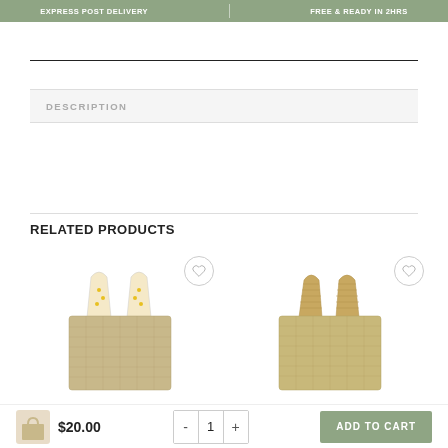EXPRESS POST DELIVERY | FREE & READY IN 2HRS
DESCRIPTION
RELATED PRODUCTS
[Figure (photo): Jute tote bag with yellow floral patterned handles]
[Figure (photo): Natural jute tote bag with braided handles]
$20.00
- 1 +
ADD TO CART